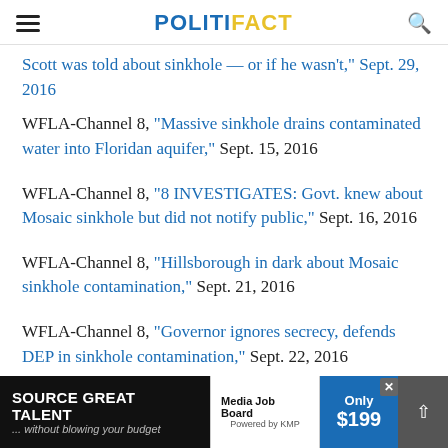POLITIFACT
Scott was told about sinkhole — or if he wasn't," Sept. 29, 2016
WFLA-Channel 8, "Massive sinkhole drains contaminated water into Floridan aquifer," Sept. 15, 2016
WFLA-Channel 8, "8 INVESTIGATES: Govt. knew about Mosaic sinkhole but did not notify public," Sept. 16, 2016
WFLA-Channel 8, "Hillsborough in dark about Mosaic sinkhole contamination," Sept. 21, 2016
WFLA-Channel 8, "Governor ignores secrecy, defends DEP in sinkhole contamination," Sept. 22, 2016
[Figure (other): Advertisement banner: SOURCE GREAT TALENT ...without blowing your budget, Media Job Board, Only $199, with close and share buttons]